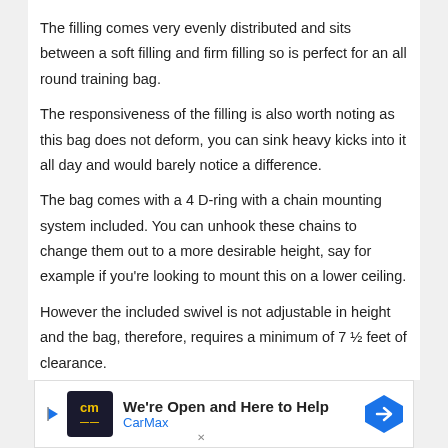The filling comes very evenly distributed and sits between a soft filling and firm filling so is perfect for an all round training bag.
The responsiveness of the filling is also worth noting as this bag does not deform, you can sink heavy kicks into it all day and would barely notice a difference.
The bag comes with a 4 D-ring with a chain mounting system included. You can unhook these chains to change them out to a more desirable height, say for example if you're looking to mount this on a lower ceiling.
However the included swivel is not adjustable in height and the bag, therefore, requires a minimum of 7 ½ feet of clearance.
[Figure (screenshot): CarMax advertisement banner reading 'We're Open and Here to Help' with CarMax logo and blue navigation arrow icon]